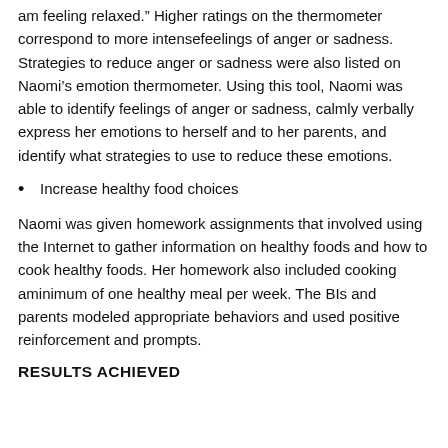am feeling relaxed.”  Higher ratings on the thermometer correspond to more intensefeelings of anger or sadness.  Strategies to reduce anger or sadness were also listed on Naomi’s emotion thermometer.  Using this tool, Naomi was able to identify feelings of anger or sadness, calmly verbally express her emotions to herself and to her parents, and identify what strategies to use to reduce these emotions.
Increase healthy food choices
Naomi was given homework assignments that involved using the Internet to gather information on healthy foods and how to cook healthy foods.  Her homework also included cooking aminimum of one healthy meal per week. The BIs and parents modeled appropriate behaviors and used positive reinforcement and prompts.
RESULTS ACHIEVED